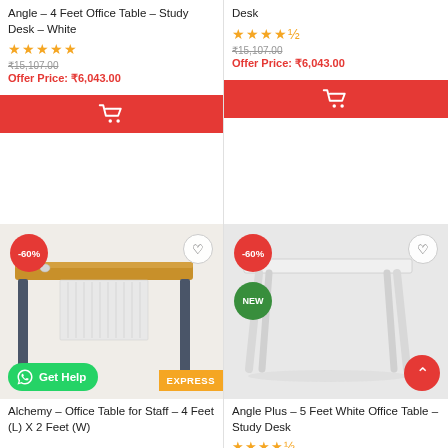Angle – 4 Feet Office Table – Study Desk – White
★★★★★
₹15,107.00
Offer Price: ₹6,043.00
[Figure (other): Red add to cart button with shopping cart icon]
Desk
★★★★½
₹15,107.00
Offer Price: ₹6,043.00
[Figure (other): Red add to cart button with shopping cart icon]
[Figure (photo): Alchemy office table for staff - 4 feet x 2 feet, wooden top with metal frame, -60% discount badge, WhatsApp Get Help button and EXPRESS badge]
Alchemy – Office Table for Staff – 4 Feet (L) X 2 Feet (W)
[Figure (photo): Angle Plus 5 Feet White Office Table - Study Desk, white table with angled legs, -60% discount badge, NEW badge, back to top button]
Angle Plus – 5 Feet White Office Table – Study Desk
★★★★½